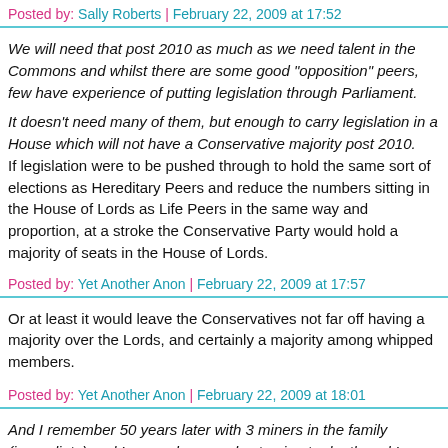Posted by: Sally Roberts | February 22, 2009 at 17:52
We will need that post 2010 as much as we need talent in the Commons and whilst there are some good "opposition" peers, few have experience of putting legislation through Parliament.
It doesn't need many of them, but enough to carry legislation in a House which will not have a Conservative majority post 2010. If legislation were to be pushed through to hold the same sort of elections as Hereditary Peers and reduce the numbers sitting in the House of Lords as Life Peers in the same way and proportion, at a stroke the Conservative Party would hold a majority of seats in the House of Lords.
Posted by: Yet Another Anon | February 22, 2009 at 17:57
Or at least it would leave the Conservatives not far off having a majority over the Lords, and certainly a majority among whipped members.
Posted by: Yet Another Anon | February 22, 2009 at 18:01
And I remember 50 years later with 3 miners in the family (immediate) and I remember people starving to death and I remember people being stopped...